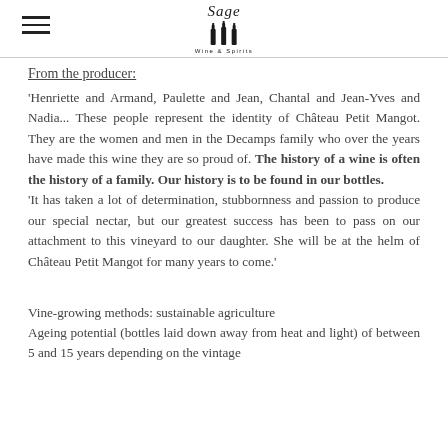Sage Wine & Spirits
From the producer:
'Henriette and Armand, Paulette and Jean, Chantal and Jean-Yves and Nadia... These people represent the identity of Château Petit Mangot. They are the women and men in the Decamps family who over the years have made this wine they are so proud of. The history of a wine is often the history of a family. Our history is to be found in our bottles. 'It has taken a lot of determination, stubbornness and passion to produce our special nectar, but our greatest success has been to pass on our attachment to this vineyard to our daughter. She will be at the helm of Château Petit Mangot for many years to come.'
Vine-growing methods: sustainable agriculture Ageing potential (bottles laid down away from heat and light) of between 5 and 15 years depending on the vintage